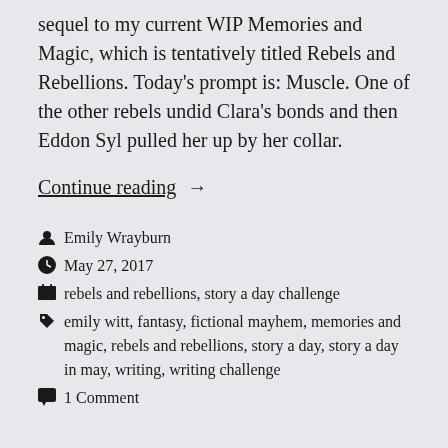sequel to my current WIP Memories and Magic, which is tentatively titled Rebels and Rebellions. Today's prompt is: Muscle. One of the other rebels undid Clara's bonds and then Eddon Syl pulled her up by her collar.
Continue reading →
Emily Wrayburn
May 27, 2017
rebels and rebellions, story a day challenge
emily witt, fantasy, fictional mayhem, memories and magic, rebels and rebellions, story a day, story a day in may, writing, writing challenge
1 Comment